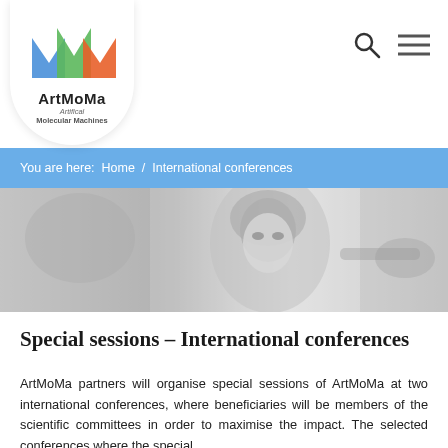[Figure (logo): ArtMoMa logo — Artificial Molecular Machines — with colored M shapes in blue, green, orange/red on a white circular background]
You are here:  Home  /  International conferences
[Figure (photo): Black and white photo of a woman with long blond hair looking upward in a conference or meeting setting; a person pointing in the background]
Special sessions – International conferences
ArtMoMa partners will organise special sessions of ArtMoMa at two international conferences, where beneficiaries will be members of the scientific committees in order to maximise the impact. The selected conferences where the special